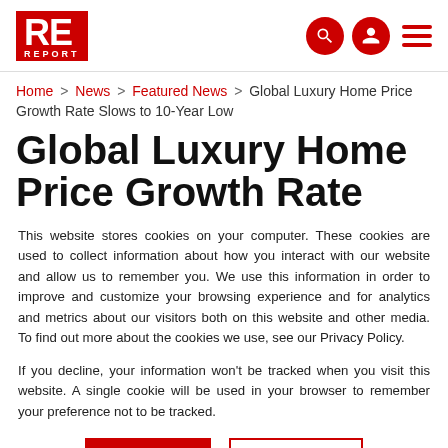RE REPORT — navigation header with logo, search, account, and menu icons
Home > News > Featured News > Global Luxury Home Price Growth Rate Slows to 10-Year Low
Global Luxury Home Price Growth Rate Slows to 10-Year Low
This website stores cookies on your computer. These cookies are used to collect information about how you interact with our website and allow us to remember you. We use this information in order to improve and customize your browsing experience and for analytics and metrics about our visitors both on this website and other media. To find out more about the cookies we use, see our Privacy Policy.
If you decline, your information won't be tracked when you visit this website. A single cookie will be used in your browser to remember your preference not to be tracked.